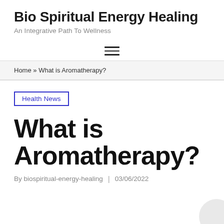Bio Spiritual Energy Healing
An Integrative Path To Wellness
[Figure (other): Hamburger menu icon with three horizontal lines]
Home » What is Aromatherapy?
Health News
What is Aromatherapy?
By biospiritual-energy-healing | 03/06/2022